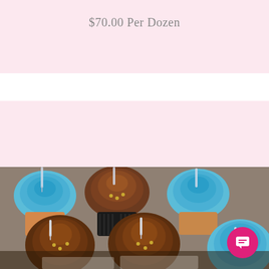[Figure (photo): Partial view of decorative cupcakes with colorful frosting at the top of the page]
$70.00 Per Dozen
Alcohol Infused Cupcakes
[Figure (photo): Alcohol infused cupcakes with blue and chocolate frosting, decorated with small syringes/shot tubes, displayed on a table]